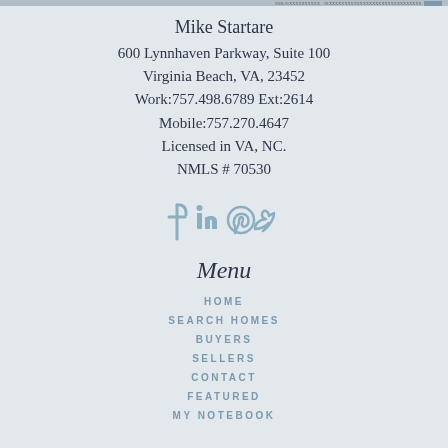Mike Startare
600 Lynnhaven Parkway, Suite 100
Virginia Beach, VA, 23452
Work:757.498.6789 Ext:2614
Mobile:757.270.4647
Licensed in VA, NC.
NMLS # 70530
[Figure (illustration): Social media icons: Facebook, LinkedIn, Pinterest, Twitter]
Menu
HOME
SEARCH HOMES
BUYERS
SELLERS
CONTACT
FEATURED
MY NOTEBOOK